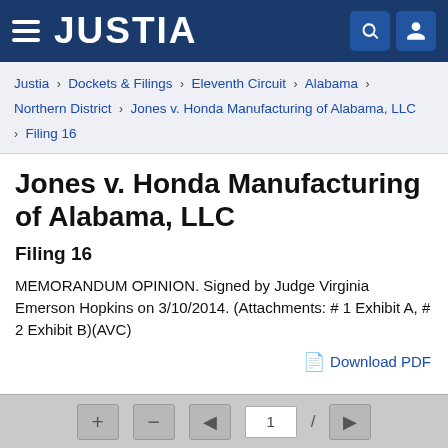JUSTIA
Justia › Dockets & Filings › Eleventh Circuit › Alabama › Northern District › Jones v. Honda Manufacturing of Alabama, LLC › Filing 16
Jones v. Honda Manufacturing of Alabama, LLC
Filing 16
MEMORANDUM OPINION. Signed by Judge Virginia Emerson Hopkins on 3/10/2014. (Attachments: # 1 Exhibit A, # 2 Exhibit B)(AVC)
Download PDF
[Figure (screenshot): PDF viewer navigation bar with +, -, back arrow, page number 1, forward slash, forward arrow controls on grey background]